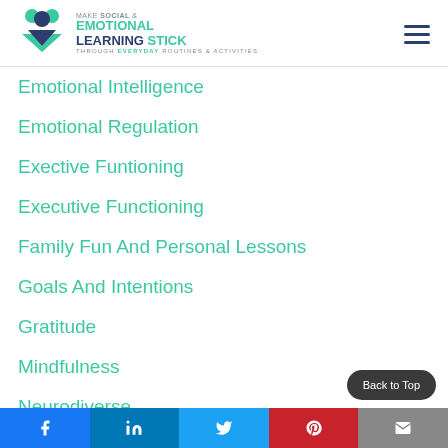Make Social & Emotional Learning Stick — Through Everyday Routines & Activities
Emotional Intelligence
Emotional Regulation
Exective Funtioning
Executive Functioning
Family Fun And Personal Lessons
Goals And Intentions
Gratitude
Mindfulness
Neurodiverse